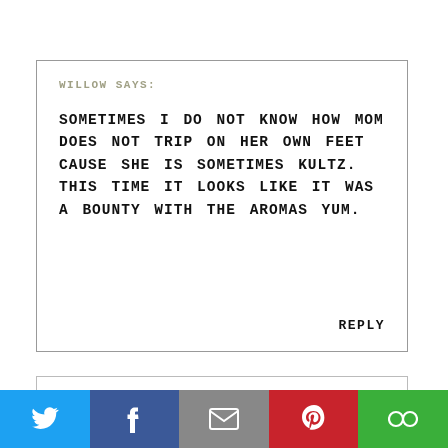WILLOW SAYS:
SOMETIMES I DO NOT KNOW HOW MOM DOES NOT TRIP ON HER OWN FEET CAUSE SHE IS SOMETIMES KULTZ. THIS TIME IT LOOKS LIKE IT WAS A BOUNTY WITH THE AROMAS YUM.
REPLY
GIGI SAYS:
[Figure (infographic): Social share bar with Twitter, Facebook, Email, Pinterest, and Circles icons]